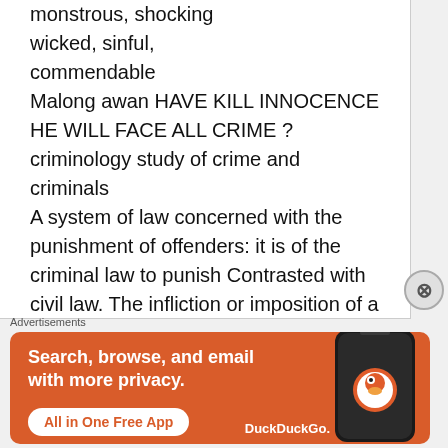monstrous, shocking
wicked, sinful,
commendable
Malong awan HAVE KILL INNOCENCE HE WILL FACE ALL CRIME ?
criminology study of crime and criminals
A system of law concerned with the punishment of offenders: it is of the criminal law to punish Contrasted with civil law. The infliction or imposition of a penalty as retribution for an of fence: crime demands just punishment
[Figure (other): DuckDuckGo advertisement banner with orange background showing 'Search, browse, and email with more privacy. All in One Free App' with a phone graphic and DuckDuckGo logo]